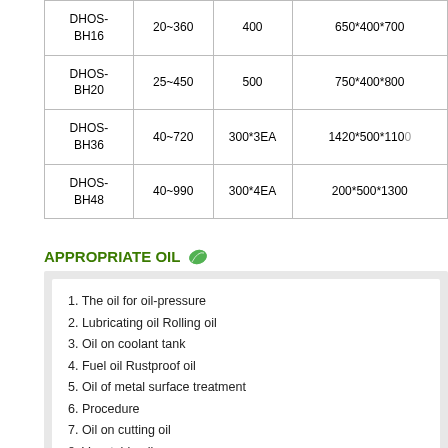| Model | Capacity (L) | Motor (W) | Dimensions (mm) |
| --- | --- | --- | --- |
| DHOS-BH16 | 20~360 | 400 | 650*400*700 |
| DHOS-BH20 | 25~450 | 500 | 750*400*800 |
| DHOS-BH36 | 40~720 | 300*3EA | 1420*500*1100 |
| DHOS-BH48 | 40~990 | 300*4EA | 200*500*1300 |
APPROPRIATE OIL
1. The oil for oil-pressure
2. Lubricating oil Rolling oil
3. Oil on coolant tank
4. Fuel oil Rustproof oil
5. Oil of metal surface treatment
6. Procedure
7. Oil on cutting oil
8. Vagetable oil